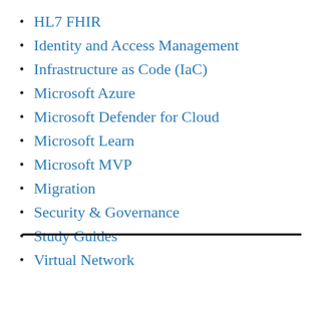HL7 FHIR
Identity and Access Management
Infrastructure as Code (IaC)
Microsoft Azure
Microsoft Defender for Cloud
Microsoft Learn
Microsoft MVP
Migration
Security & Governance
Study Guides
Virtual Network